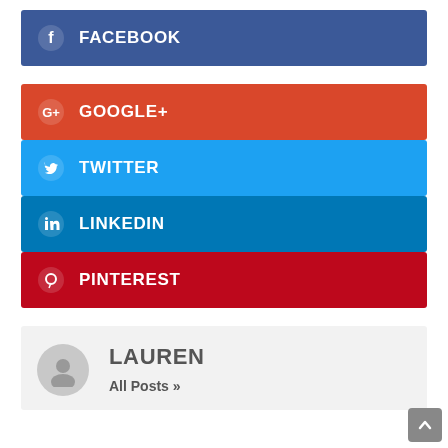FACEBOOK
GOOGLE+
TWITTER
LINKEDIN
PINTEREST
LAUREN
All Posts »